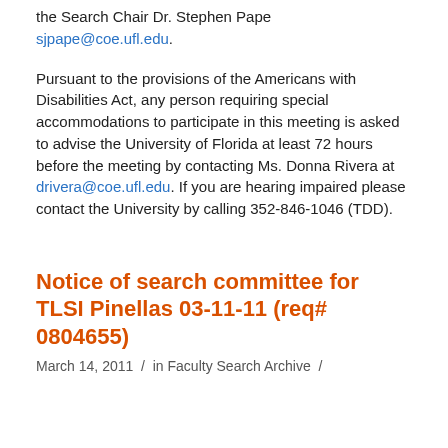the Search Chair Dr. Stephen Pape sjpape@coe.ufl.edu.
Pursuant to the provisions of the Americans with Disabilities Act, any person requiring special accommodations to participate in this meeting is asked to advise the University of Florida at least 72 hours before the meeting by contacting Ms. Donna Rivera at drivera@coe.ufl.edu. If you are hearing impaired please contact the University by calling 352-846-1046 (TDD).
Notice of search committee for TLSI Pinellas 03-11-11 (req# 0804655)
March 14, 2011  /  in Faculty Search Archive  /